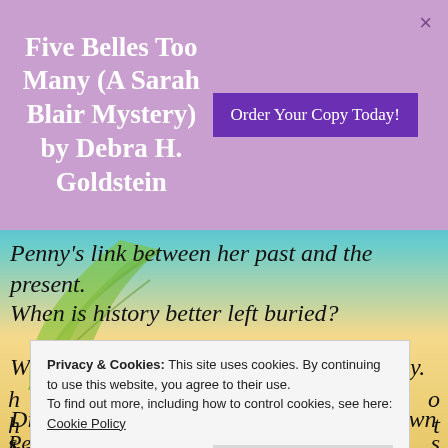Five Belles Too Many (A Sarah Blair Mystery) by Debra H. Goldstein
Order Your Copy Today!
Penny’s link between her past and the present.
When is history better left buried?
When the Raven is the one telling the story.
Dinah, Penny’s old advocate, is struck down before her eyes.
Privacy & Cookies: This site uses cookies. By continuing to use this website, you agree to their use. To find out more, including how to control cookies, see here: Cookie Policy
Close and accept
Penny as T.C. supports her from afar.